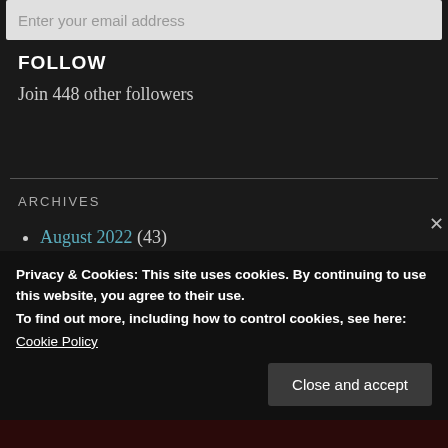Enter your email address
FOLLOW
Join 448 other followers
ARCHIVES
August 2022 (43)
Privacy & Cookies: This site uses cookies. By continuing to use this website, you agree to their use.
To find out more, including how to control cookies, see here:
Cookie Policy
Close and accept